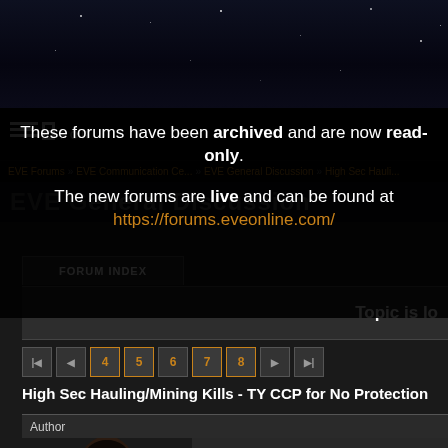[Figure (screenshot): EVE Forums banner with starfield background]
These forums have been archived and are now read-only.
The new forums are live and can be found at https://forums.eveonline.com/
EVE Forums » EVE Communication Center » EVE General Discussion » High Sec Hauling/Mining Kills
EVE General Discussion
FORUM INDEX
Topic is locked
4 5 6 7 8
High Sec Hauling/Mining Kills - TY CCP for No Protection
Author
#101 - 2014-08-27 18:42:50 UTC
see your first mistake was doing the hauling as a solo one.